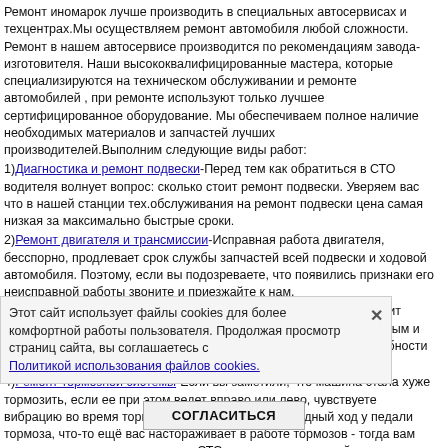Ремонт иномарок лучше производить в специальных автосервисах и техцентрах.Мы осуществляем ремонт автомобиля любой сложности. Ремонт в нашем автосервисе производится по рекомендациям завода-изготовителя. Наши высококвалифицированные мастера, которые специализируются на техническом обслуживании и ремонте автомобилей , при ремонте используют только лучшее сертифицированное оборудование. Мы обеспечиваем полное наличие необходимых материалов и запчастей лучших производителей.Выполним следующие виды работ:
1)Диагностика и ремонт подвески-Перед тем как обратиться в СТО водителя волнует вопрос: сколько стоит ремонт подвески. Уверяем вас что в нашей станции тех.обслуживания на ремонт подвески цена самая низкая за максимально быстрые сроки.
2)Ремонт двигателя и трансмиссии-Исправная работа двигателя, бесспорно, продлевает срок службы запчастей всей подвески и ходовой автомобиля. Поэтому, если вы подозреваете, что появились признаки его неисправной работы звоните и приезжайте к нам.
3)Компьютерная диагностика-В ходе данной процедуры происходит детальная оценка работы агрегатов и различных углов по косвенным и прямым признакам, проверяется текущее состояние работоспособности мотора и коробки передач.
4)Ремонт тормозной системы-Если вы заметили, что машина стала хуже тормозить, если ее при этом ведет вправо или лево, чувствуете вибрацию во время торможения, увеличился свободный ход у педали тормоза, что-то ещё вас настораживает в работе тормозов - тогда вам пора срочно записываться к нам СТО на ремонт тормозной системы.
5)Заправка и обслуживание кондиционеров-Сам процесс заправки кондиционера длится минут 15-25. Но диагностика перед заправкой и какой-нибудь мелкий ремонт могут занять несколько больше времени.
6)Замена масла и фильтров-Наша СТО специализируется на проведении работ по замене масла и масляного фильтра в любом автомобиле.
7)Кузовной ремонт и покраска-Наше СТО специализируется на ремонте всех т пользователя. Продолжая просмотр страниц сайта, вы соглашаетесь с микроавтобусы и фургоны.
8)Ремонт турбин-мы предлагаем качественные восстановление и ремонт турбины разных видов и моделей с заменой поврежденных деталей в самые краткие сроки.
Нам будет приятно видеть у нас на сайте нажмите ССЫЛКУ
Этот сайт использует файлы cookies для более комфортной работы пользователя. Продолжая просмотр страниц сайта, вы соглашаетесь с Политикой использования файлов cookies.